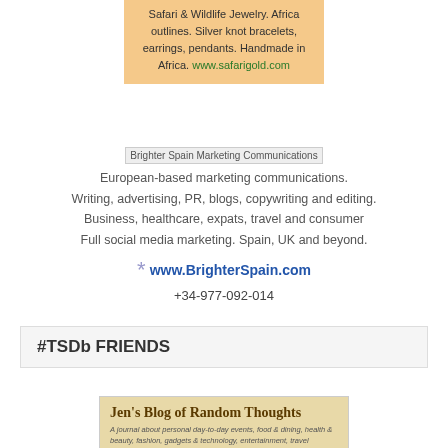Safari & Wildlife Jewelry. Africa outlines. Silver knot bracelets, earrings, pendants. Handmade in Africa. www.safarigold.com
[Figure (logo): Brighter Spain Marketing Communications logo placeholder image]
European-based marketing communications. Writing, advertising, PR, blogs, copywriting and editing. Business, healthcare, expats, travel and consumer Full social media marketing. Spain, UK and beyond. * www.BrighterSpain.com +34-977-092-014
#TSDb FRIENDS
[Figure (screenshot): Jen's Blog of Random Thoughts banner - A journal about personal day-to-day events, food & dining, health & beauty, fashion, gadgets & technology, entertainment, travel experiences, photography and product reviews as well as sharing giveaways.]